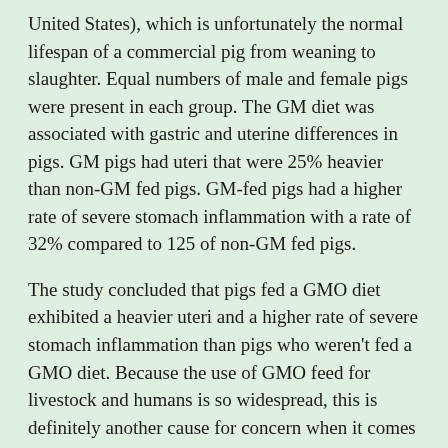United States), which is unfortunately the normal lifespan of a commercial pig from weaning to slaughter. Equal numbers of male and female pigs were present in each group. The GM diet was associated with gastric and uterine differences in pigs. GM pigs had uteri that were 25% heavier than non-GM fed pigs. GM-fed pigs had a higher rate of severe stomach inflammation with a rate of 32% compared to 125 of non-GM fed pigs.
The study concluded that pigs fed a GMO diet exhibited a heavier uteri and a higher rate of severe stomach inflammation than pigs who weren't fed a GMO diet. Because the use of GMO feed for livestock and humans is so widespread, this is definitely another cause for concern when it comes to GMO consumption. Humans have a similar gastrointestinal tract to pigs, and these GM crops are consumed widely by people, especially in the United States.